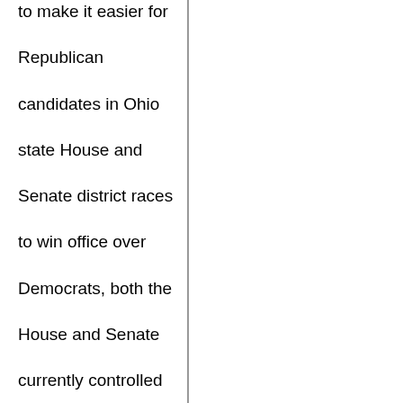to make it easier for Republican candidates in Ohio state House and Senate district races to win office over Democrats, both the House and Senate currently controlled by Republicans.